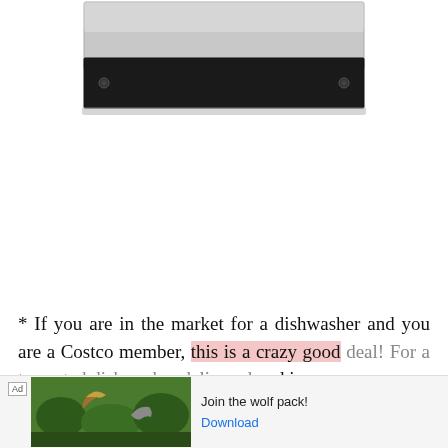[Figure (photo): Partial product photo of a dishwasher, showing the top portion including a stainless steel/silver upper panel and a black control strip with two small screws or buttons at either end.]
* If you are in the market for a dishwasher and you are a Costco member, this is a crazy good deal! For a top-rated dishwasher delivered and i...
[Figure (screenshot): Advertisement banner showing wildlife images (birds, wolves) with text 'Join the wolf pack!' and a 'Download' button link, with an 'Ad' label.]